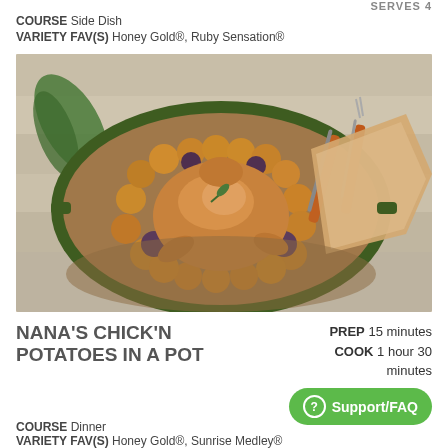SERVES 4
COURSE  Side Dish
VARIETY FAV(S)  Honey Gold®, Ruby Sensation®
[Figure (photo): Oval green Dutch oven filled with roasted whole chicken surrounded by golden and purple potatoes, with carving utensils and rosemary beside it on a wooden surface.]
NANA'S CHICK'N POTATOES IN A POT
PREP 15 minutes  COOK 1 hour 30 minutes
Support/FAQ
COURSE  Dinner
VARIETY FAV(S)  Honey Gold®, Sunrise Medley®